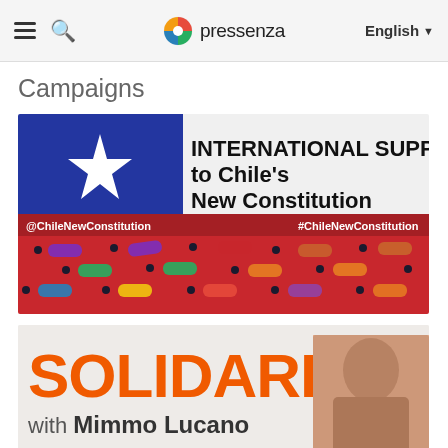pressenza | English
Campaigns
[Figure (illustration): Banner for International Support to Chile's New Constitution campaign, showing the Chilean flag with a white star on blue, red stripe, with colorful pill/dot decoration pattern and text: INTERNATIONAL SUPPORT to Chile's New Constitution. Social handles @ChileNewConstitution and #ChileNewConstitution shown.]
[Figure (illustration): Banner for Solidarity with Mimmo Lucano campaign, showing large orange bold text SOLIDARITY with a black and white photo of Mimmo Lucano, and subtitle 'with Mimmo Lucano']